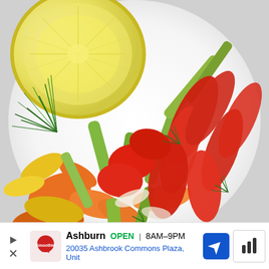[Figure (photo): Close-up photo of a colorful vegetable salad on a white plate, featuring sliced red bell peppers, orange bell peppers, green celery or cucumber strips, yellow peppers, fresh dill herb, and a halved lemon in the upper left corner.]
Ashburn  OPEN | 8AM–9PM
20035 Ashbrook Commons Plaza, Unit